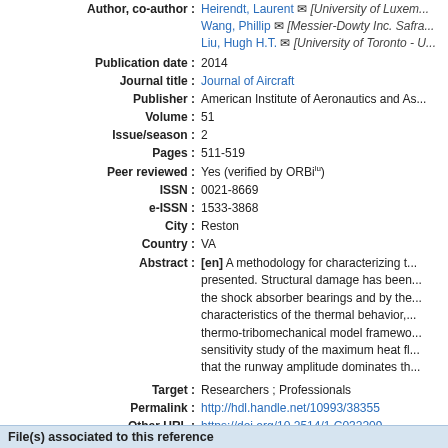Author, co-author : Heirendt, Laurent [University of Luxembourg] Wang, Phillip [Messier-Dowty Inc. Safra...] Liu, Hugh H.T. [University of Toronto - U...]
Publication date : 2014
Journal title : Journal of Aircraft
Publisher : American Institute of Aeronautics and A...
Volume : 51
Issue/season : 2
Pages : 511-519
Peer reviewed : Yes (verified by ORBilu)
ISSN : 0021-8669
e-ISSN : 1533-3868
City : Reston
Country : VA
Abstract : [en] A methodology for characterizing t... presented. Structural damage has been... the shock absorber bearings and by the... characteristics of the thermal behavior,... thermo-tribomechanical model framewo... sensitivity study of the maximum heat fl... that the runway amplitude dominates th...
Target : Researchers ; Professionals
Permalink : http://hdl.handle.net/10993/38355
Other URL : https://doi.org/10.2514/1.C032209
File(s) associated to this reference